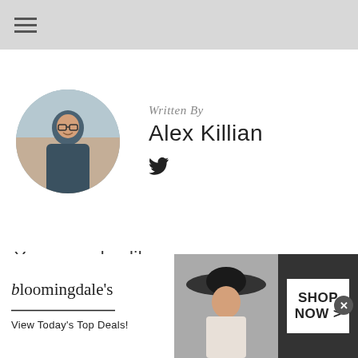Written By
Alex Killian
[Figure (photo): Circular profile photo of Alex Killian, a person with glasses smiling at a beach]
You may also like
[Figure (photo): Teal/sage colored card with text HIGHLAND KITES in pink/coral uppercase letters]
[Figure (photo): Bloomingdales advertisement banner: logo, 'View Today's Top Deals!', woman in hat, SHOP NOW button]